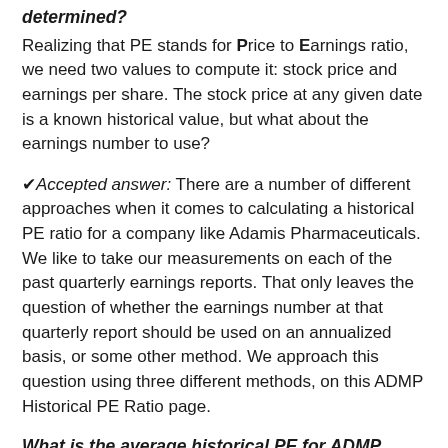determined?
Realizing that PE stands for Price to Earnings ratio, we need two values to compute it: stock price and earnings per share. The stock price at any given date is a known historical value, but what about the earnings number to use?
✔Accepted answer: There are a number of different approaches when it comes to calculating a historical PE ratio for a company like Adamis Pharmaceuticals. We like to take our measurements on each of the past quarterly earnings reports. That only leaves the question of whether the earnings number at that quarterly report should be used on an annualized basis, or some other method. We approach this question using three different methods, on this ADMP Historical PE Ratio page.
What is the average historical PE for ADMP based on annualized quarterly earnings?
As we look back through earnings history, what is the